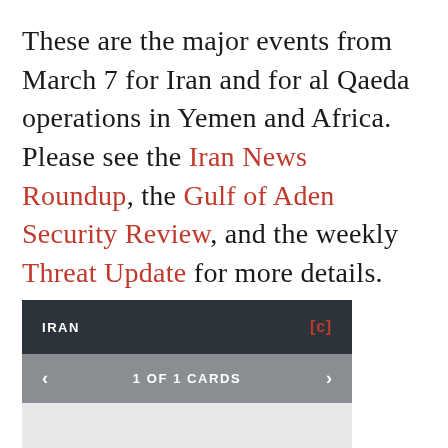These are the major events from March 7 for Iran and for al Qaeda operations in Yemen and Africa.  Please see the Iran News Roundup, the Gulf of Aden Security Review, and the weekly Threat Update for more details.
[Figure (other): Card UI element with dark header showing 'IRAN' and '[c]' badge, gray navigation bar showing '< 1 OF 1 CARDS >', and light gray content area below.]